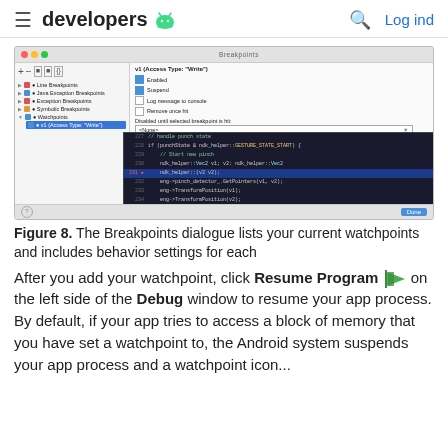≡  developers 🤖  🔍  Log ind
[Figure (screenshot): Android Studio Breakpoints dialogue showing watchpoints list on left (Line Breakpoints, Java Exception Breakpoints, Exception Breakpoints, Symbolic Breakpoints, Watchpoints, v1 Access Type Write selected) and settings on right (Enabled, Suspend checkboxes, Log message to console, Remove once hit, Disabled until selected breakpoint is hit dropdown set to None, After breakpoint was hit radio buttons Disable again / Leave enabled, Access Type Write dropdown), with a code editor panel below showing lines 227-237 of C++ code with line 231 highlighted in blue and a breakpoint marker.]
Figure 8. The Breakpoints dialogue lists your current watchpoints and includes behavior settings for each
After you add your watchpoint, click Resume Program on the left side of the Debug window to resume your app process. By default, if your app tries to access a block of memory that you have set a watchpoint to, the Android system suspends your app process and a watchpoint icon...